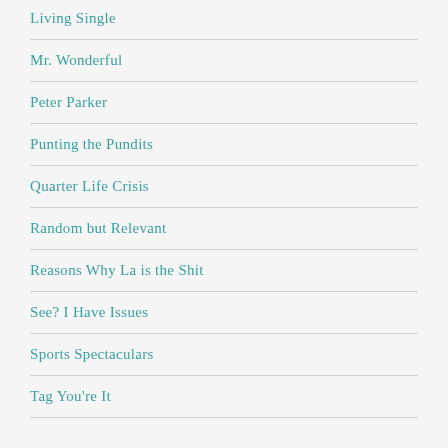Living Single
Mr. Wonderful
Peter Parker
Punting the Pundits
Quarter Life Crisis
Random but Relevant
Reasons Why La is the Shit
See? I Have Issues
Sports Spectaculars
Tag You're It